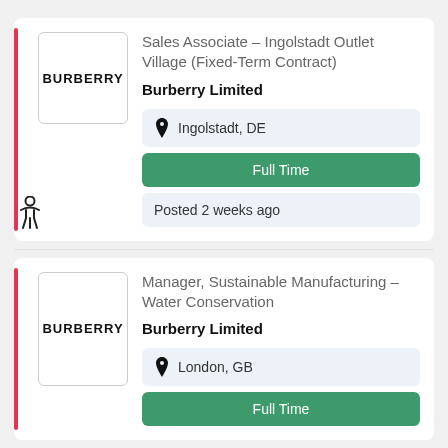[Figure (logo): Burberry logo — word BURBERRY in bold black letters inside a white rounded box]
Sales Associate – Ingolstadt Outlet Village (Fixed-Term Contract)
Burberry Limited
Ingolstadt, DE
Full Time
Posted 2 weeks ago
[Figure (logo): Burberry logo — word BURBERRY in bold black letters inside a white rounded box]
Manager, Sustainable Manufacturing – Water Conservation
Burberry Limited
London, GB
Full Time